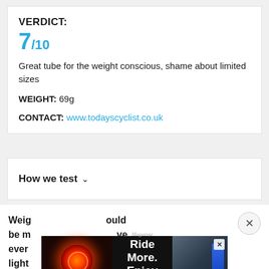VERDICT:
7/10
Great tube for the weight conscious, shame about limited sizes
WEIGHT: 69g
CONTACT: www.todayscyclist.co.uk
How we test ∨
Weig… …ould be m… …ve ever… light… …ut
[Figure (screenshot): Advertisement banner: Ride More. Enjoy More — showing a red bicycle light and a blue device, with a close button]